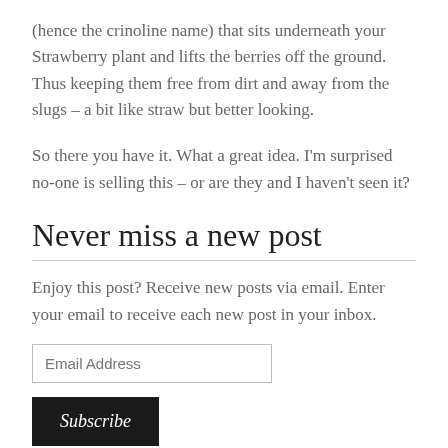(hence the crinoline name) that sits underneath your Strawberry plant and lifts the berries off the ground. Thus keeping them free from dirt and away from the slugs – a bit like straw but better looking.
So there you have it. What a great idea. I'm surprised no-one is selling this – or are they and I haven't seen it?
Never miss a new post
Enjoy this post? Receive new posts via email. Enter your email to receive each new post in your inbox.
[Figure (other): Email address input field and Subscribe button for newsletter signup]